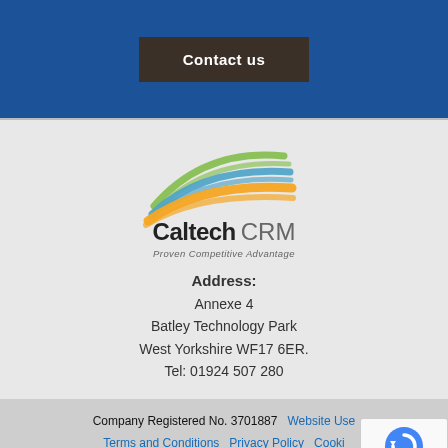Contact us
[Figure (logo): Caltech CRM logo with colorful swoosh stripes and tagline 'Proven Competitive Advantage']
Address:
Annexe 4
Batley Technology Park
West Yorkshire WF17 6ER.
Tel: 01924 507 280
Company Registered No. 3701887  Website Use  Terms and Conditions  Privacy Policy  Cookies  Sitemap